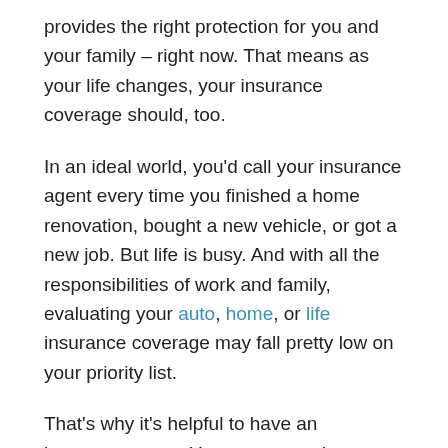provides the right protection for you and your family – right now. That means as your life changes, your insurance coverage should, too.
In an ideal world, you'd call your insurance agent every time you finished a home renovation, bought a new vehicle, or got a new job. But life is busy. And with all the responsibilities of work and family, evaluating your auto, home, or life insurance coverage may fall pretty low on your priority list.
That's why it's helpful to have an insurance agent. Your agent can keep an eye on your policies and reach out to connect to make sure they're still the right fit.